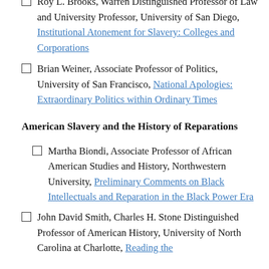Roy L. Brooks, Warren Distinguished Professor of Law and University Professor, University of San Diego, Institutional Atonement for Slavery: Colleges and Corporations
Brian Weiner, Associate Professor of Politics, University of San Francisco, National Apologies: Extraordinary Politics within Ordinary Times
American Slavery and the History of Reparations
Martha Biondi, Associate Professor of African American Studies and History, Northwestern University, Preliminary Comments on Black Intellectuals and Reparation in the Black Power Era
John David Smith, Charles H. Stone Distinguished Professor of American History, University of North Carolina at Charlotte, Reading the